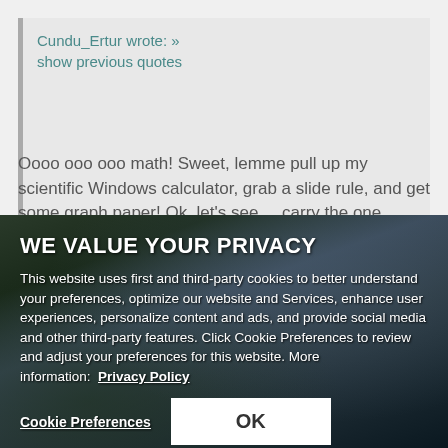Cundu_Ertur wrote: » show previous quotes
Oooo ooo ooo math! Sweet, lemme pull up my scientific Windows calculator, grab a slide rule, and get some graph paper! Ok, let's see.... carry the one... take the integral... apply a fourier transform... let's just throw a pi in there because
WE VALUE YOUR PRIVACY
This website uses first and third-party cookies to better understand your preferences, optimize our website and Services, enhance user experiences, personalize content and ads, and provide social media and other third-party features. Click Cookie Preferences to review and adjust your preferences for this website. More information: Privacy Policy
Cookie Preferences   OK